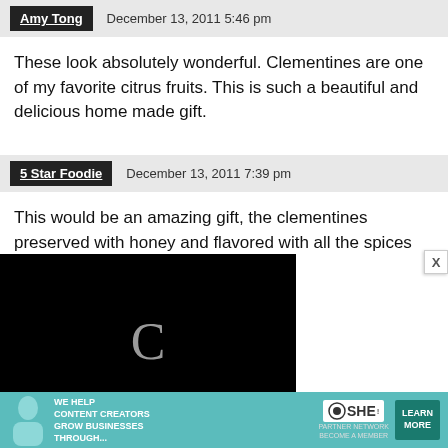Amy Tong — December 13, 2011 5:46 pm
These look absolutely wonderful. Clementines are one of my favorite citrus fruits. This is such a beautiful and delicious home made gift.
5 Star Foodie — December 13, 2011 7:39 pm
This would be an amazing gift, the clementines preserved with honey and flavored with all the spices
[Figure (screenshot): Embedded video player showing a loading spinner (letter C), progress bar, and controls showing timestamp 13:52, CC button, grid button, expand button. Video is black/loading.]
here these are just as exciting as that little blue box! 😀
[Figure (infographic): Advertisement banner for SHE Media Partner Network. Text reads: WE HELP CONTENT CREATORS GROW BUSINESSES THROUGH... with SHE logo and LEARN MORE button.]